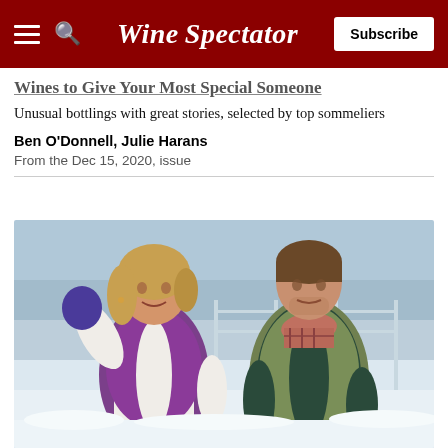Wine Spectator | Subscribe
Wines to Give Your Most Special Someone
Unusual bottlings with great stories, selected by top sommeliers
Ben O'Donnell, Julie Harans
From the Dec 15, 2020, issue
[Figure (photo): A woman and man stand outdoors in winter clothing in front of a snowy vineyard. The woman on the left is wearing a purple quilted vest, white turtleneck sweater, and purple/black gloves, waving. The man on the right is wearing an olive quilted vest over a dark green sweater with a plaid scarf.]